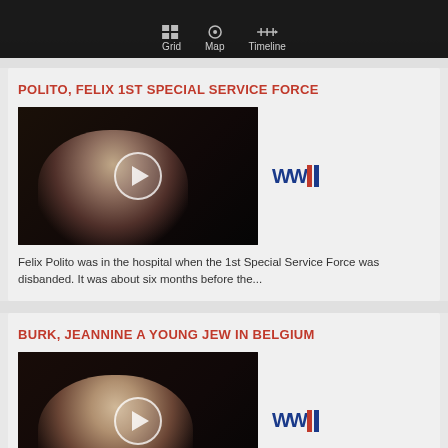Grid  Map  Timeline
POLITO, FELIX 1ST SPECIAL SERVICE FORCE
[Figure (photo): Video thumbnail showing elderly man with dark sunglasses against dark background, with circular play button overlay and WWII logo]
Felix Polito was in the hospital when the 1st Special Service Force was disbanded. It was about six months before the...
BURK, JEANNINE A YOUNG JEW IN BELGIUM
[Figure (photo): Video thumbnail showing elderly woman against dark background, with circular play button overlay and WWII logo]